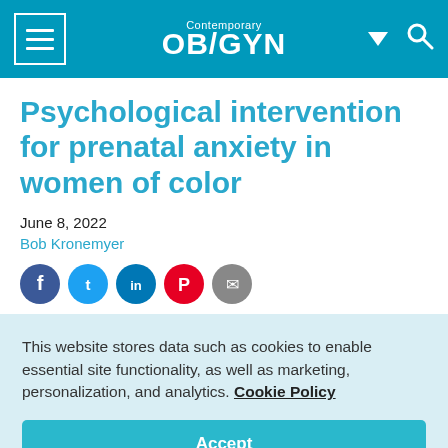Contemporary OB/GYN
Psychological intervention for prenatal anxiety in women of color
June 8, 2022
Bob Kronemyer
[Figure (other): Social media sharing icons: Facebook, Twitter, LinkedIn, Pinterest, Email]
This website stores data such as cookies to enable essential site functionality, as well as marketing, personalization, and analytics. Cookie Policy
Accept
Deny